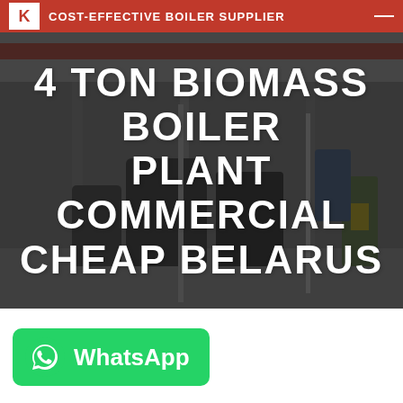COST-EFFECTIVE BOILER SUPPLIER
[Figure (photo): Industrial boiler manufacturing plant interior with large machinery and equipment on the factory floor]
4 TON BIOMASS BOILER PLANT COMMERCIAL CHEAP BELARUS
[Figure (logo): WhatsApp green button with WhatsApp logo icon and text 'WhatsApp']
Commercial For Sale 4t Biomass Hot Water Boiler